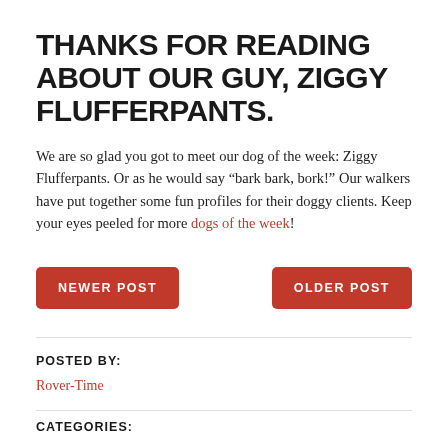THANKS FOR READING ABOUT OUR GUY, ZIGGY FLUFFERPANTS.
We are so glad you got to meet our dog of the week: Ziggy Flufferpants. Or as he would say “bark bark, bork!” Our walkers have put together some fun profiles for their doggy clients. Keep your eyes peeled for more dogs of the week!
NEWER POST
OLDER POST
POSTED BY:
Rover-Time
CATEGORIES: